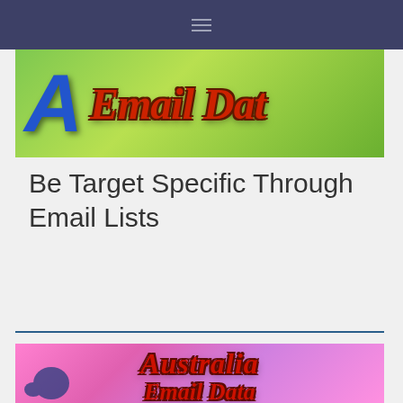[Figure (screenshot): Dark navy navigation bar with hamburger menu icon]
[Figure (photo): Email Data banner with large blue letter A and red stylized 'Email Data' text on green background]
Be Target Specific Through Email Lists
[Figure (photo): Australia Email Database banner with red stylized text on pink/magenta gradient background with blue map shape]